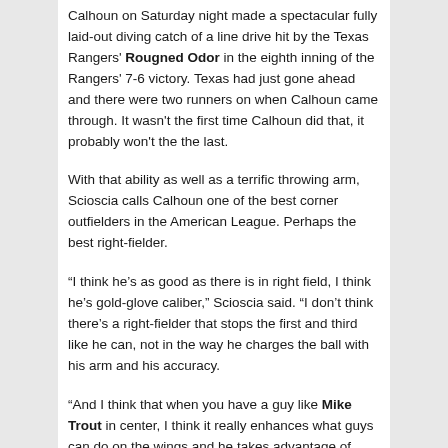Calhoun on Saturday night made a spectacular fully laid-out diving catch of a line drive hit by the Texas Rangers' Rougned Odor in the eighth inning of the Rangers' 7-6 victory. Texas had just gone ahead and there were two runners on when Calhoun came through. It wasn't the first time Calhoun did that, it probably won't the the last.
With that ability as well as a terrific throwing arm, Scioscia calls Calhoun one of the best corner outfielders in the American League. Perhaps the best right-fielder.
“I think he’s as good as there is in right field, I think he’s gold-glove caliber,” Scioscia said. “I don’t think there’s a right-fielder that stops the first and third like he can, not in the way he charges the ball with his arm and his accuracy.
“And I think that when you have a guy like Mike Trout in center, I think it really enhances what guys can do on the wings and he takes advantage of that. I don’t know if there’s a better defensive right-fielder that we’ve seen than Kole.”